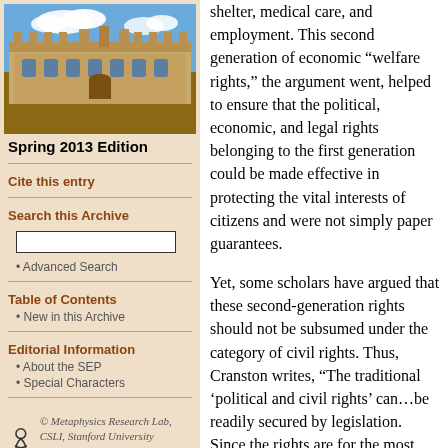[Figure (photo): Photograph of a sandstone university building with blue sky and clouds]
Spring 2013 Edition
Cite this entry
Search this Archive
Advanced Search
Table of Contents
New in this Archive
Editorial Information
About the SEP
Special Characters
[Figure (logo): Metaphysics Research Lab, CSLI, Stanford University logo with stylized figure]
shelter, medical care, and employment. This second generation of economic “welfare rights,” the argument went, helped to ensure that the political, economic, and legal rights belonging to the first generation could be made effective in protecting the vital interests of citizens and were not simply paper guarantees.
Yet, some scholars have argued that these second-generation rights should not be subsumed under the category of civil rights. Thus, Cranston writes, “The traditional ‘political and civil rights’ can…be readily secured by legislation. Since the rights are for the most part